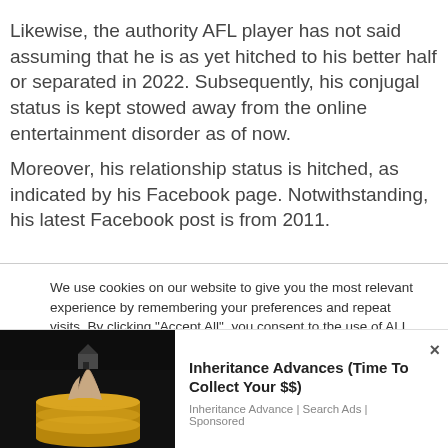Likewise, the authority AFL player has not said assuming that he is as yet hitched to his better half or separated in 2022. Subsequently, his conjugal status is kept stowed away from the online entertainment disorder as of now.
Moreover, his relationship status is hitched, as indicated by his Facebook page. Notwithstanding, his latest Facebook post is from 2011.
We use cookies on our website to give you the most relevant experience by remembering your preferences and repeat visits. By clicking "Accept All", you consent to the use of ALL the cookies. However, you may visit "Cookie Settings" to provide a controlled consent.
[Figure (photo): Photo of a hand holding a small house model above a stack of gold coins on a dark background — advertisement image]
Inheritance Advances (Time To Collect Your $$)
Inheritance Advance | Search Ads | Sponsored